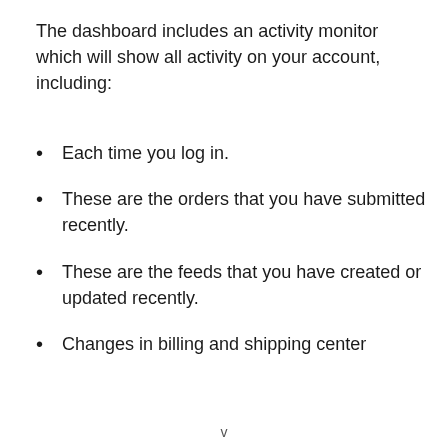The dashboard includes an activity monitor which will show all activity on your account, including:
Each time you log in.
These are the orders that you have submitted recently.
These are the feeds that you have created or updated recently.
Changes in billing and shipping center
v